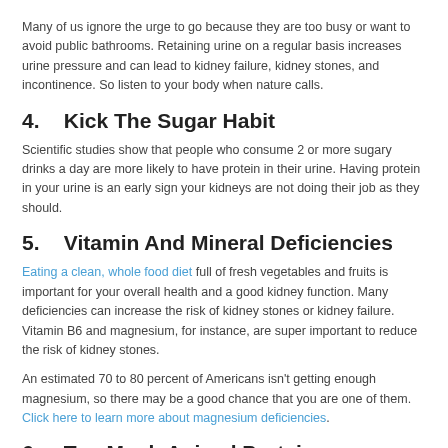Many of us ignore the urge to go because they are too busy or want to avoid public bathrooms. Retaining urine on a regular basis increases urine pressure and can lead to kidney failure, kidney stones, and incontinence. So listen to your body when nature calls.
4.   Kick The Sugar Habit
Scientific studies show that people who consume 2 or more sugary drinks a day are more likely to have protein in their urine. Having protein in your urine is an early sign your kidneys are not doing their job as they should.
5.   Vitamin And Mineral Deficiencies
Eating a clean, whole food diet full of fresh vegetables and fruits is important for your overall health and a good kidney function. Many deficiencies can increase the risk of kidney stones or kidney failure. Vitamin B6 and magnesium, for instance, are super important to reduce the risk of kidney stones.
An estimated 70 to 80 percent of Americans isn't getting enough magnesium, so there may be a good chance that you are one of them. Click here to learn more about magnesium deficiencies.
6.   Too Much Animal Protein